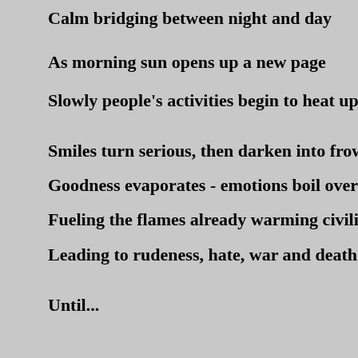Calm bridging between night and day
As morning sun opens up a new page
Slowly people's activities begin to heat up
Smiles turn serious, then darken into frowns
Goodness evaporates - emotions boil over
Fueling the flames already warming civiliza...
Leading to rudeness, hate, war and death
Until...